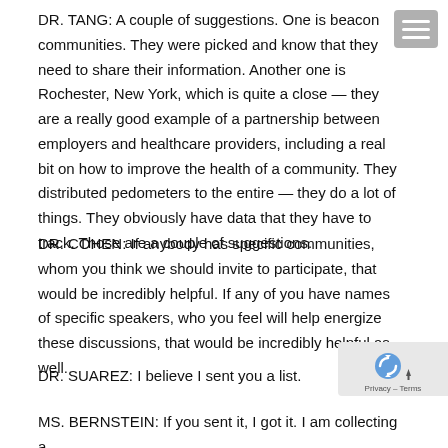DR. TANG: A couple of suggestions. One is beacon communities. They were picked and know that they need to share their information. Another one is Rochester, New York, which is quite a close — they are a really good example of a partnership between employers and healthcare providers, including a real bit on how to improve the health of a community. They distributed pedometers to the entire — they do a lot of things. They obviously have data that they have to track. Those are a couple of suggestions.
DR. COHEN: If anybody has specific communities, whom you think we should invite to participate, that would be incredibly helpful. If any of you have names of specific speakers, who you feel will help energize these discussions, that would be incredibly helpful as well.
DR. SUAREZ: I believe I sent you a list.
MS. BERNSTEIN: If you sent it, I got it. I am collecting a